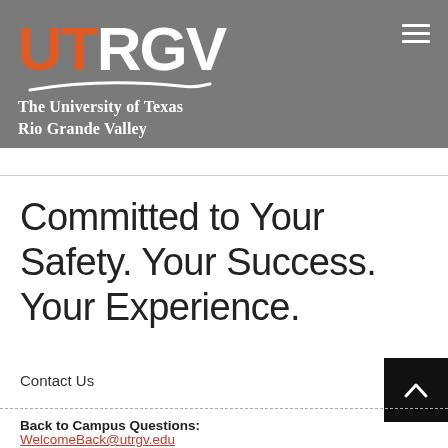[Figure (logo): UTRGV logo with orange UT and white RGV text, swoosh graphic, and The University of Texas Rio Grande Valley text below, on grey background]
Committed to Your Safety. Your Success. Your Experience.
Contact Us
Back to Campus Questions:
WelcomeBack@utrgv.edu
Students: